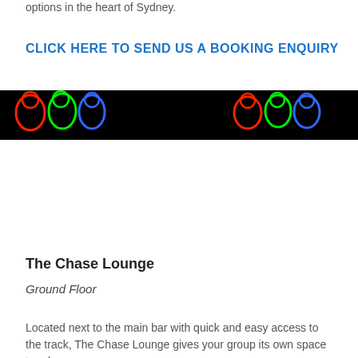options in the heart of Sydney.
CLICK HERE TO SEND US A BOOKING ENQUIRY
[Figure (photo): A black banner image showing neon-outlined figures of people in red, green, and blue on the left side and right side against a black background.]
The Chase Lounge
Ground Floor
Located next to the main bar with quick and easy access to the track, The Chase Lounge gives your group its own space to relax